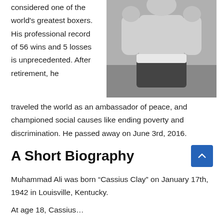considered one of the world's greatest boxers. His professional record of 56 wins and 5 losses is unprecedented. After retirement, he traveled the world as an ambassador of peace, and championed social causes like ending poverty and discrimination. He passed away on June 3rd, 2016.
[Figure (photo): Black and white photograph of Muhammad Ali in boxing stance, shirtless, wearing boxing shorts and championship belt, fists raised.]
A Short Biography
Muhammad Ali was born “Cassius Clay” on January 17th, 1942 in Louisville, Kentucky.
At age 18, Cassius...